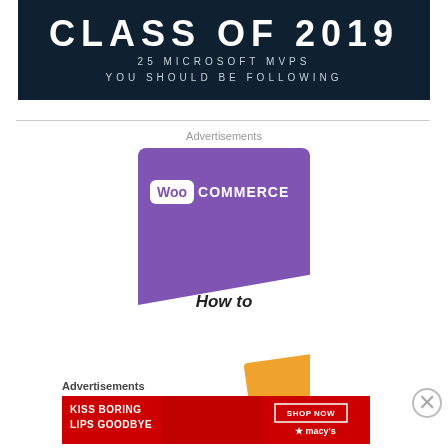[Figure (infographic): Dark navy banner with large white text 'CLASS OF 2019' and subtitle '25 MICROSOFT MVPS YOU SHOULD BE FOLLOWING']
Advertisements
[Figure (screenshot): WooCommerce advertisement with purple card logo area showing 'Woo COMMERCE' text, white diagonal section, orange accent shape, and partial 'How to' text at bottom]
Advertisements
[Figure (photo): Macy's advertisement on red background with text 'KISS BORING LIPS GOODBYE', a woman's face, 'SHOP NOW' button, and Macy's star logo]